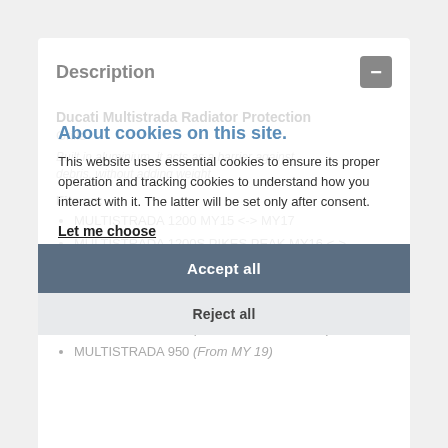Description
Ducati Multistrada Radiator Protection Grille
Built in aluminium, it acts as a barrier against debris, without adding weight.
Fits on:
MULTISTRADA 1200 MY15 <-> MY17
MULTISTRADA 1200S PIKES PEAK MY16 <-> MY17
MULTISTRADA 1200S MY15 <-> MY17
MULTISTRADA 1200 ENDUR MY15 <-> MY17
MULTISTRADA 950 (From MY 17 To MY 18)
MULTISTRADA 950 (From MY 19)
About cookies on this site.
This website uses essential cookies to ensure its proper operation and tracking cookies to understand how you interact with it. The latter will be set only after consent.
Let me choose
Accept all
Reject all